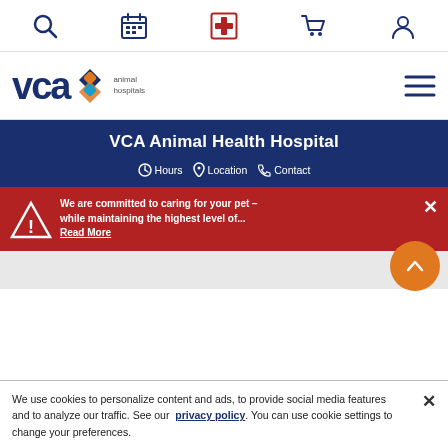Top navigation icon bar with search, calendar, medical cross, cart, and account icons
[Figure (logo): VCA Animal Hospitals logo with colorful diamond/paw icon]
VCA Animal Health Hospital
Hours  Location  Contact
We are committed to caring for your pet – while maintaining the highest level of... Read More
We use cookies to personalize content and ads, to provide social media features and to analyze our traffic. See our privacy policy. You can use cookie settings to change your preferences.